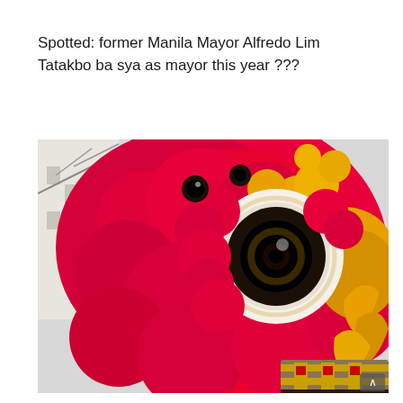Spotted: former Manila Mayor Alfredo Lim
Tatakbo ba sya as mayor this year ???
[Figure (photo): Close-up photo of a bright red and yellow Chinese lion dance costume head, with large black-and-white spiral eyes and fluffy red fur. In the lower right corner, a person wearing a traditional headpiece is partially visible.]